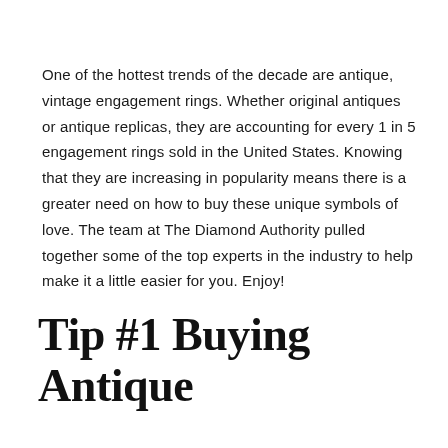One of the hottest trends of the decade are antique, vintage engagement rings. Whether original antiques or antique replicas, they are accounting for every 1 in 5 engagement rings sold in the United States. Knowing that they are increasing in popularity means there is a greater need on how to buy these unique symbols of love. The team at The Diamond Authority pulled together some of the top experts in the industry to help make it a little easier for you. Enjoy!
Tip #1 Buying Antique